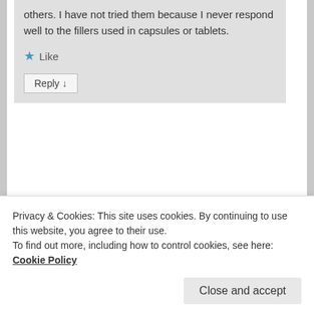others. I have not tried them because I never respond well to the fillers used in capsules or tablets.
★ Like
Reply ↓
Pingback: What Are Histamines Purpose In The Immune System | Windranger4
Privacy & Cookies: This site uses cookies. By continuing to use this website, you agree to their use.
To find out more, including how to control cookies, see here: Cookie Policy
Close and accept